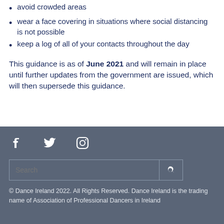avoid crowded areas
wear a face covering in situations where social distancing is not possible
keep a log of all of your contacts throughout the day
This guidance is as of June 2021 and will remain in place until further updates from the government are issued, which will then supersede this guidance.
[Figure (other): Social media icons: Facebook, Twitter, Instagram]
[Figure (other): Search bar with search button]
© Dance Ireland 2022. All Rights Reserved. Dance Ireland is the trading name of Association of Professional Dancers in Ireland